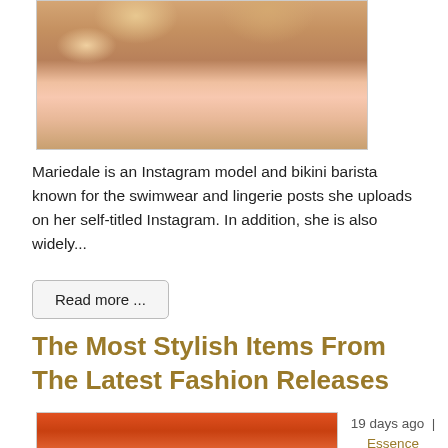[Figure (photo): Close-up photo of a smiling woman with curly hair, cropped showing face and shoulders]
Mariedale is an Instagram model and bikini barista known for the swimwear and lingerie posts she uploads on her self-titled Instagram. In addition, she is also widely...
Read more ...
The Most Stylish Items From The Latest Fashion Releases
[Figure (photo): Photo of an orange floral bikini top on white background]
19 days ago  |  Essence
By Greg